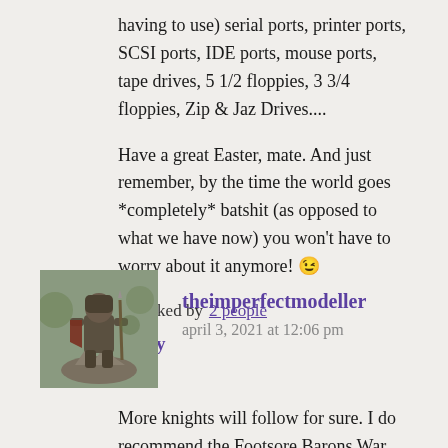having to use) serial ports, printer ports, SCSI ports, IDE ports, mouse ports, tape drives, 5 1/2 floppies, 3 3/4 floppies, Zip & Jaz Drives....
Have a great Easter, mate. And just remember, by the time the world goes *completely* batshit (as opposed to what we have now) you won't have to worry about it anymore! 😉
★ Liked by 2 people
Reply
[Figure (photo): Avatar photo of theimperfectmodeller showing a miniature figurine of a medieval knight on a rocky base]
theimperfectmodeller
april 3, 2021 at 12:06 pm
More knights will follow for sure. I do recommend the Footsore Barons War range if they interest